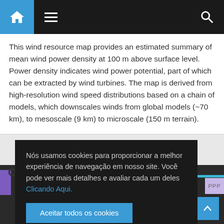Navigation bar with home, menu, and search icons
This wind resource map provides an estimated summary of mean wind power density at 100 m above surface level. Power density indicates wind power potential, part of which can be extracted by wind turbines. The map is derived from high-resolution wind speed distributions based on a chain of models, which downscales winds from global models (~70 km), to mesoscale (9 km) to microscale (150 m terrain).
Nós usamos cookies para proporcionar a melhor experiência de navegação em nosso site. Você pode ver mais detalhes e avaliar cada um deles Clicando Aqui.
Aceitar todos os cookies